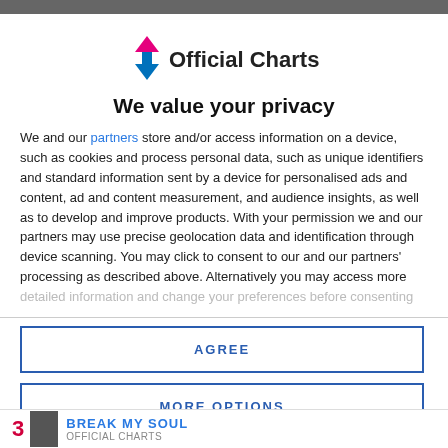[Figure (logo): Official Charts logo with number 1 icon in pink/blue and text 'Official Charts']
We value your privacy
We and our partners store and/or access information on a device, such as cookies and process personal data, such as unique identifiers and standard information sent by a device for personalised ads and content, ad and content measurement, and audience insights, as well as to develop and improve products. With your permission we and our partners may use precise geolocation data and identification through device scanning. You may click to consent to our and our partners' processing as described above. Alternatively you may access more detailed information and change your preferences before consenting
AGREE
MORE OPTIONS
BREAK MY SOUL